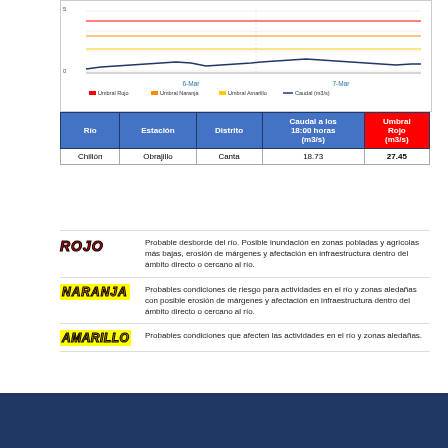[Figure (continuous-plot): Line chart showing river flow (Caudal m3/s) with Umbral Rojo, Umbral Naranja, Umbral Amarillo thresholds over 6-Mar to 7-Mar dates]
| Río | Estación | Distrito | Caudal a los 18:00 horas (m3/s) | Umbral Rojo (m3/s) |
| --- | --- | --- | --- | --- |
| Chillón | Obrajillo | Canta | 18.73 | 27.45 |
ROJO — Probable desborde del río. Posible inundación en zonas pobladas y agrícolas más bajas, erosión de márgenes y afectación en infraestructura dentro del ámbito directo o cercano al río.
NARANJA — Probables condiciones de riesgo para actividades en el río y zonas aledañas con posible erosión de márgenes y afectación en infraestructura dentro del ámbito directo o cercano al río.
AMARILLO — Probables condiciones que afecten las actividades en el río y zonas aledañas.